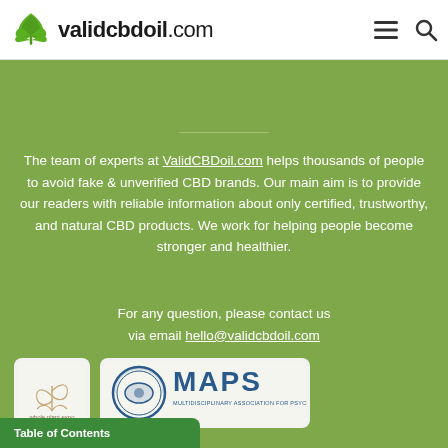[Figure (logo): validcbdoil.com logo with green cannabis leaf icon and bold text]
The team of experts at ValidCBDoil.com helps thousands of people to avoid fake & unverified CBD brands. Our main aim is to provide our readers with reliable information about only certified, trustworthy, and natural CBD products. We work for helping people become stronger and healthier.
For any question, please contact us via email hello@validcbdoil.com
[Figure (logo): Whole Plant Expo logo - white background badge with plant illustration]
[Figure (logo): MAPS - Multidisciplinary Association for Psychedelic Studies logo]
[Figure (logo): DMCA Protected badge]
Table of Contents